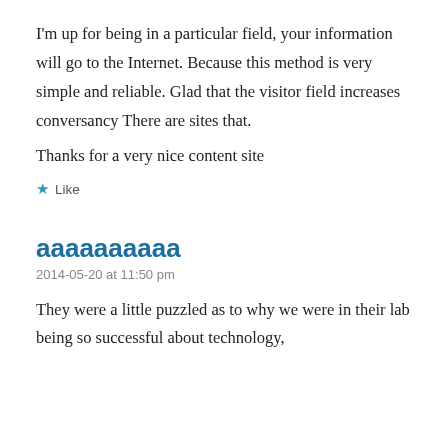I'm up for being in a particular field, your information will go to the Internet. Because this method is very simple and reliable. Glad that the visitor field increases conversancy There are sites that.
Thanks for a very nice content site
★ Like
aaaaaaaaaa
2014-05-20 at 11:50 pm
They were a little puzzled as to why we were in their lab being so successful about technology,